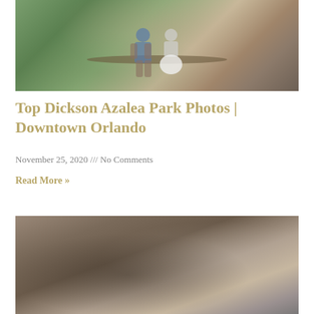[Figure (photo): Couple sitting on a tree branch in a park, green grass and trees in background. Man in denim shirt and khaki pants, woman in white skirt.]
Top Dickson Azalea Park Photos | Downtown Orlando
November 25, 2020 /// No Comments
Read More »
[Figure (photo): Close-up photo of an engagement ring placed on high-heeled shoes, warm brown/beige tones.]